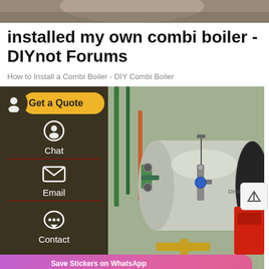[Figure (photo): Top banner image showing partial view of a boiler or heating equipment]
installed my own combi boiler - DIYnot Forums
How to Install a Combi Boiler - DIY Combi Boiler
[Figure (screenshot): Interactive widget overlay with Get a Quote button, Chat, Email, Contact sidebar on dark background, and Save Stickers on WhatsApp bar with phone and chat icons]
[Figure (photo): Industrial boiler - large cylindrical horizontal boiler with green pipes, valves, and red burner assembly]
[Figure (infographic): Bottom navigation bar with Leave Message and OnlineChat buttons on blue background]